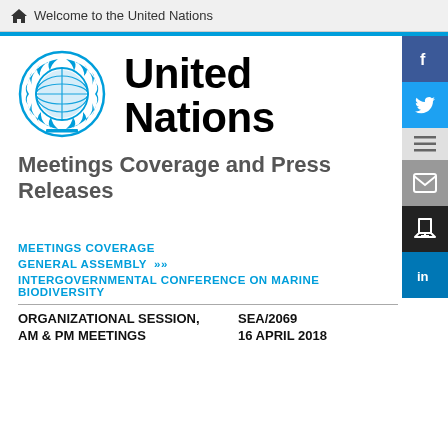Welcome to the United Nations
[Figure (logo): United Nations emblem logo in blue, circular wreath design with world map]
United Nations
Meetings Coverage and Press Releases
MEETINGS COVERAGE
GENERAL ASSEMBLY >>
INTERGOVERNMENTAL CONFERENCE ON MARINE BIODIVERSITY
ORGANIZATIONAL SESSION,
AM & PM MEETINGS
SEA/2069
16 APRIL 2018